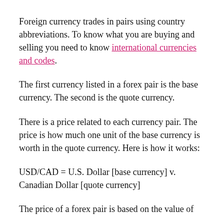Foreign currency trades in pairs using country abbreviations. To know what you are buying and selling you need to know international currencies and codes.
The first currency listed in a forex pair is the base currency. The second is the quote currency.
There is a price related to each currency pair. The price is how much one unit of the base currency is worth in the quote currency. Here is how it works:
USD/CAD = U.S. Dollar [base currency] v. Canadian Dollar [quote currency]
The price of a forex pair is based on the value of